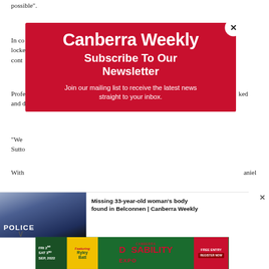possible".
In co... locke... cont...
[Figure (screenshot): Canberra Weekly newsletter subscription modal overlay on red background with title 'Canberra Weekly', subtitle 'Subscribe To Our Newsletter', and body text 'Join our mailing list to receive the latest news straight to your inbox.' with a white circular close button (×) in the top right.]
Profe... ked and d...
"We... Sutto...
With... aniel
[Figure (screenshot): Bottom notification bar showing a police car image on the left and text 'Missing 33-year-old woman’s body found in Belconnen | Canberra Weekly' on the right, with a close (×) button and a down chevron (∨).]
[Figure (screenshot): Advertisement banner for Canberra Disability Expo: FRI 2nd, SAT 3rd SEP 2022, Featuring Ryley Batt, FREE ENTRY REGISTER NOW.]